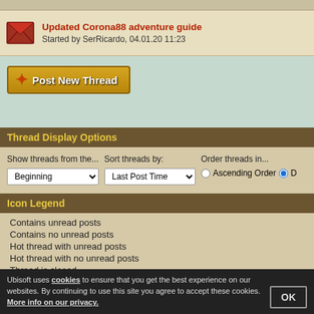Updated Corona88 adventure guide
Started by SerRicardo, 04.01.20 11:23
Post New Thread
Thread Display Options
Show threads from the... Beginning | Sort threads by: Last Post Time | Order threads in... Ascending Order | D
Icon Legend
Contains unread posts
Contains no unread posts
Hot thread with unread posts
Hot thread with no unread posts
Thread is closed
You have posted in this thread
Ubisoft uses cookies to ensure that you get the best experience on our websites. By continuing to use this site you agree to accept these cookies. More info on our privacy.